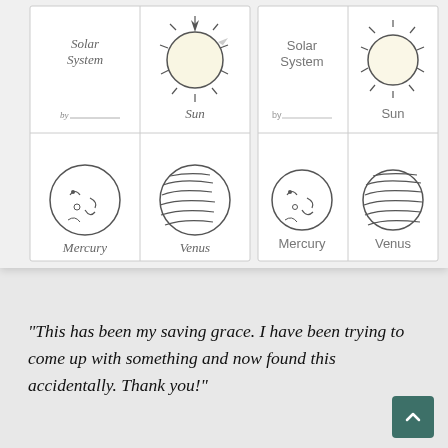[Figure (illustration): Solar system mini-book worksheet showing two side-by-side versions. Each has 4 cards: Solar System title card with sun drawing, Sun card with sun drawing, Mercury card with moon-face planet drawing, Venus card with striped planet drawing. Left version uses cursive handwritten style labels; right version uses printed labels.]
"This has been my saving grace. I have been trying to come up with something and now found this accidentally. Thank you!"